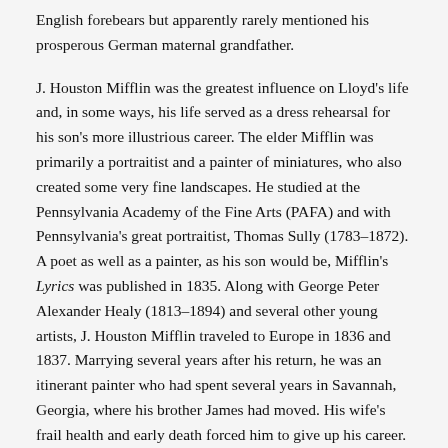English forebears but apparently rarely mentioned his prosperous German maternal grandfather.
J. Houston Mifflin was the greatest influence on Lloyd's life and, in some ways, his life served as a dress rehearsal for his son's more illustrious career. The elder Mifflin was primarily a portraitist and a painter of miniatures, who also created some very fine landscapes. He studied at the Pennsylvania Academy of the Fine Arts (PAFA) and with Pennsylvania's great portraitist, Thomas Sully (1783–1872). A poet as well as a painter, as his son would be, Mifflin's Lyrics was published in 1835. Along with George Peter Alexander Healy (1813–1894) and several other young artists, J. Houston Mifflin traveled to Europe in 1836 and 1837. Marrying several years after his return, he was an itinerant painter who had spent several years in Savannah, Georgia, where his brother James had moved. His wife's frail health and early death forced him to give up his career. The Mifflins lived comfortably in a Federal style townhouse in Columbia, built by the Bethel family, and summered at their country estate, Norwood, near Columbia, high on a hilltop overlooking the Susquehanna River where Mifflin built a house in 1850, one which was subsequently enlarged in 1902 by Lloyd. Both residences still stand and are well maintained.